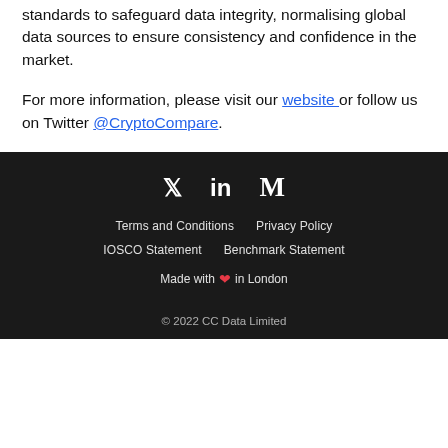standards to safeguard data integrity, normalising global data sources to ensure consistency and confidence in the market.
For more information, please visit our website or follow us on Twitter @CryptoCompare.
Social icons: Twitter, LinkedIn, Medium | Terms and Conditions | Privacy Policy | IOSCO Statement | Benchmark Statement | Made with ❤ in London | © 2022 CC Data Limited